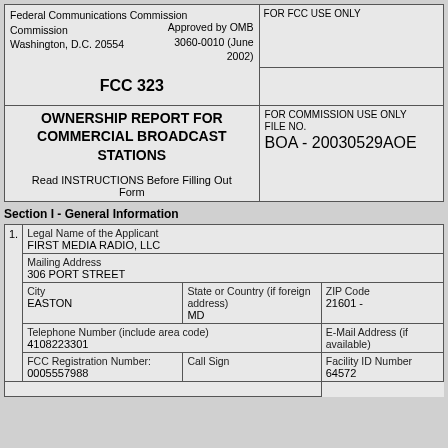| Federal Communications Commission
Washington, D.C. 20554 | Approved by OMB
3060-0010 (June 2002) | FOR FCC USE ONLY |
| FCC 323 |  |  |
| OWNERSHIP REPORT FOR COMMERCIAL BROADCAST STATIONS

Read INSTRUCTIONS Before Filling Out Form |  | FOR COMMISSION USE ONLY
FILE NO.
BOA - 20030529AOE |
Section I - General Information
| 1. | Legal Name of the Applicant
FIRST MEDIA RADIO, LLC |
|  | Mailing Address
306 PORT STREET |
|  | City
EASTON | State or Country (if foreign address)
MD | ZIP Code
21601 - |
|  | Telephone Number (include area code)
4108223301 | E-Mail Address (if available) |
|  | FCC Registration Number:
0005557988 | Call Sign | Facility ID Number
64572 |